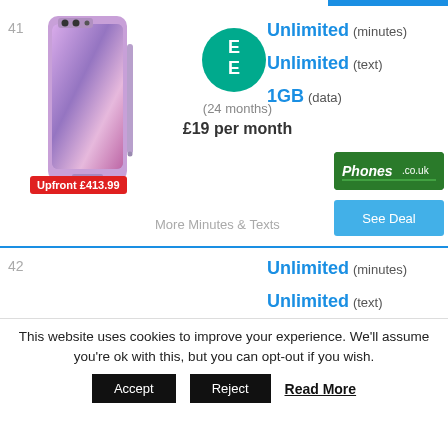41
[Figure (photo): Samsung Galaxy Note 9 smartphone in purple/lilac color]
[Figure (logo): EE network operator logo - teal circle with E E letters]
(24 months)
£19 per month
Unlimited (minutes)
Unlimited (text)
1GB (data)
Upfront £413.99
More Minutes & Texts
[Figure (logo): Phones.co.uk retailer logo - green background with white italic text]
See Deal
42
Unlimited (minutes)
Unlimited (text)
Free Phone
(24 months)
£59 per month
30GB (data)
This website uses cookies to improve your experience. We'll assume you're ok with this, but you can opt-out if you wish.
Accept
Reject
Read More